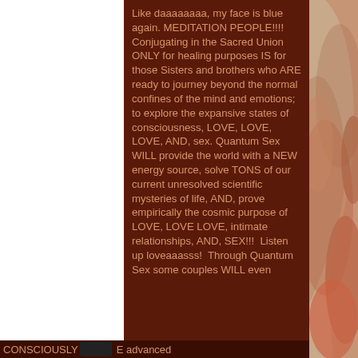Like daaaaaaaa, my face is blue again. MEDITATION PEOPLE!!!!  Conjugating in the Sacred Union ONLY for healing purposes IS for those Sisters and brothers who ARE ready to journey beyond the normal confines of the mind and emotions; to explore the expansive states of consciousness, LOVE, LOVE, LOVE, AND, sex. Quantum Sex WILL provide the world with a NEW energy source, solve TONS of our current unresolved scientific mysteries of life, AND, prove empirically the cosmic purpose of LOVE, LOVE LOVE, intimate relationships, AND, SEX!!!  Listen up loveaaasss!  Through Quantum Sex some couples WILL even CONSCIOUSLY [icon] E advanced